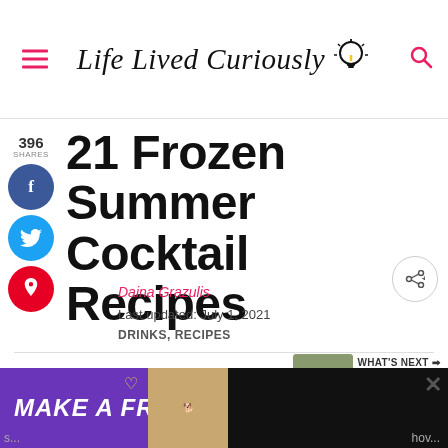Life Lived Curiously
21 Frozen Summer Cocktail Recipes
Daina Grazulis
Last updated: July 1, 2021
DRINKS, RECIPES
[Figure (other): MAKE A FRIEND advertisement banner at bottom of page with purple background and dog image]
WHAT'S NEXT → 19 Fresh Summer Sal...